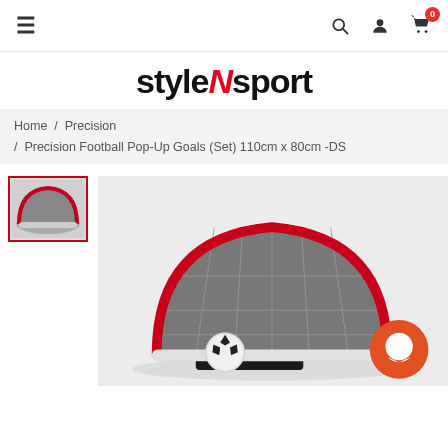styleNsport – navigation bar with hamburger menu, search, user, and cart icons
[Figure (logo): styleNsport logo in bold black and red italic N]
Home / Precision / Precision Football Pop-Up Goals (Set) 110cm x 80cm -DS
[Figure (photo): Thumbnail of a grey and red pop-up football goal with red border selected]
[Figure (photo): Main product photo: Precision Football Pop-Up Goal (grey/red) with football and carry bag on white background, chat bubble icon overlay bottom right]